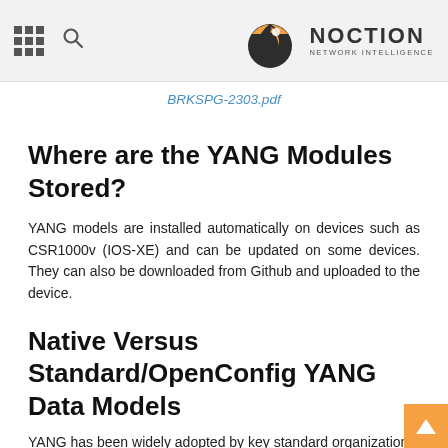NOCTION NETWORK INTELLIGENCE
BRKSPG-2303.pdf
Where are the YANG Modules Stored?
YANG models are installed automatically on devices such as CSR1000v (IOS-XE) and can be updated on some devices. They can also be downloaded from Github and uploaded to the device.
Native Versus Standard/OpenConfig YANG Data Models
YANG has been widely adopted by key standard organizations